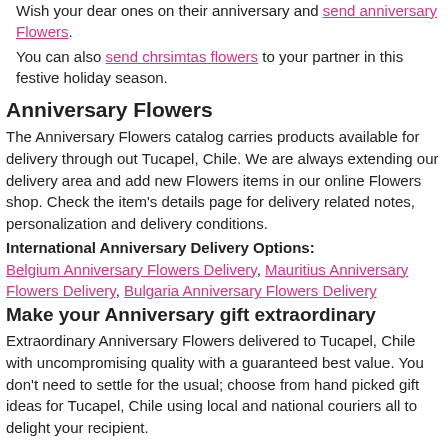Wish your dear ones on their anniversary and send anniversary Flowers.
You can also send chrsimtas flowers to your partner in this festive holiday season.
Anniversary Flowers
The Anniversary Flowers catalog carries products available for delivery through out Tucapel, Chile. We are always extending our delivery area and add new Flowers items in our online Flowers shop. Check the item's details page for delivery related notes, personalization and delivery conditions.
International Anniversary Delivery Options:
Belgium Anniversary Flowers Delivery, Mauritius Anniversary Flowers Delivery, Bulgaria Anniversary Flowers Delivery
Make your Anniversary gift extraordinary
Extraordinary Anniversary Flowers delivered to Tucapel, Chile with uncompromising quality with a guaranteed best value. You don't need to settle for the usual; choose from hand picked gift ideas for Tucapel, Chile using local and national couriers all to delight your recipient.
You may also like :
Anniversary Flowers Salamanca | Birthday Flowers Antofagasta | Anniversary Flowers Provincia De Marga Marga | Anniversary Flowers Provincia De Coyhaique | Anniversary Flowers El Bosque | Birthday Flowers Talagante | Birthday Flowers Ninhue | Anniversary Flowers Puren | Anniversary Flowers Comuna De San Pedro De La Paz | Birthday Flowers San Vicente Provincia De Ñuble | Anniversary Flowers Puerto Williams | Anniversary Flowers Puerto Aisen | Birthday